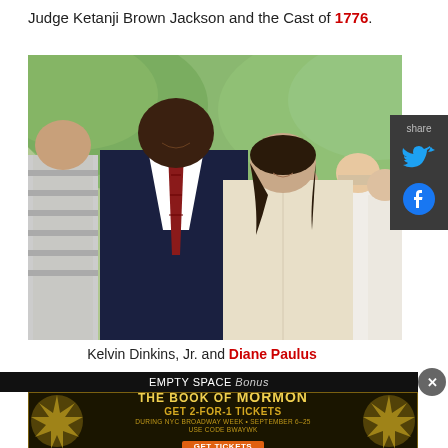Judge Ketanji Brown Jackson and the Cast of 1776.
[Figure (photo): Two people posing for a photo outdoors: a tall man in a dark navy suit with a striped tie on the left, and a woman in a cream/beige blazer on the right, with a green leafy background and other people visible behind them.]
Kelvin Dinkins, Jr. and Diane Paulus
EMPTY SPACE Bonus
[Figure (infographic): Advertisement for The Book of Mormon musical: GET 2-FOR-1 TICKETS DURING NYC BROADWAY WEEK • SEPTEMBER 6-25 USE CODE BWAYWK GET TICKETS]